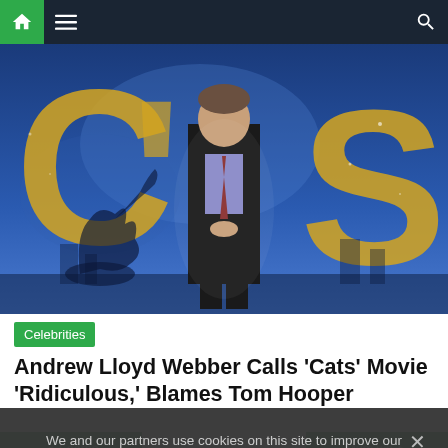Navigation bar with home, menu, and search icons
[Figure (photo): Man in black suit standing in front of a Cats movie poster backdrop with gold lettering and blue atmospheric background]
Celebrities
Andrew Lloyd Webber Calls 'Cats' Movie 'Ridiculous,' Blames Tom Hooper
◄ Fearne
Mum wh ►
We and our partners use cookies on this site to improve our service, perform analytics, personalize advertising, measure advertising performance, and remember website preferences.
Ok